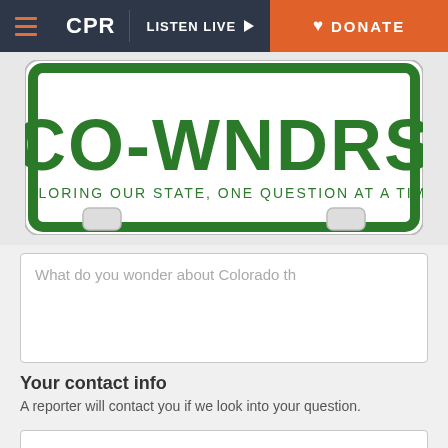CPR | LISTEN LIVE | DONATE
[Figure (photo): Colorado license plate reading CO-WNDRS with tagline 'EXPLORING OUR STATE, ONE QUESTION AT A TIME.']
What do you wonder about Colorado th
Your contact info
A reporter will contact you if we look into your question.
Name
Email address